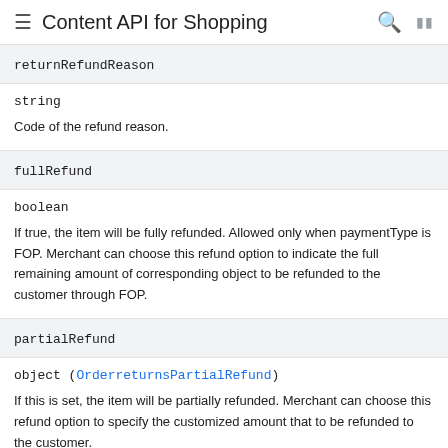Content API for Shopping
returnRefundReason
string
Code of the refund reason.
fullRefund
boolean
If true, the item will be fully refunded. Allowed only when paymentType is FOP. Merchant can choose this refund option to indicate the full remaining amount of corresponding object to be refunded to the customer through FOP.
partialRefund
object (OrderreturnsPartialRefund)
If this is set, the item will be partially refunded. Merchant can choose this refund option to specify the customized amount that to be refunded to the customer.